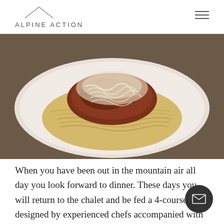ALPINE ACTION
[Figure (photo): A plate of spaghetti bolognese topped with grated parmesan cheese on a white plate, photographed from above on a wooden table.]
When you have been out in the mountain air all day you look forward to dinner. These days you will return to the chalet and be fed a 4-course meal designed by experienced chefs accompanied with a selection of wines. Long ago it was deemed acceptable to plonk